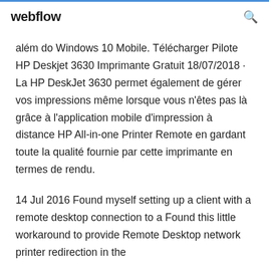webflow
além do Windows 10 Mobile. Télécharger Pilote HP Deskjet 3630 Imprimante Gratuit 18/07/2018 · La HP DeskJet 3630 permet également de gérer vos impressions même lorsque vous n'êtes pas là grâce à l'application mobile d'impression à distance HP All-in-one Printer Remote en gardant toute la qualité fournie par cette imprimante en termes de rendu.
14 Jul 2016 Found myself setting up a client with a remote desktop connection to a Found this little workaround to provide Remote Desktop network printer redirection in the